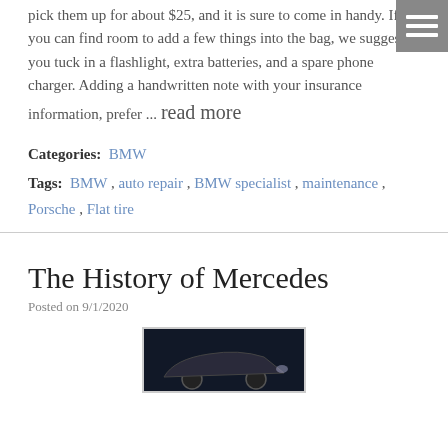pick them up for about $25, and it is sure to come in handy. If you can find room to add a few things into the bag, we suggest you tuck in a flashlight, extra batteries, and a spare phone charger. Adding a handwritten note with your insurance information, prefer ... read more
Categories: BMW
Tags: BMW , auto repair , BMW specialist , maintenance , Porsche , Flat tire
The History of Mercedes
Posted on 9/1/2020
[Figure (photo): Dark thumbnail image of a car, partially visible at the bottom of the page]